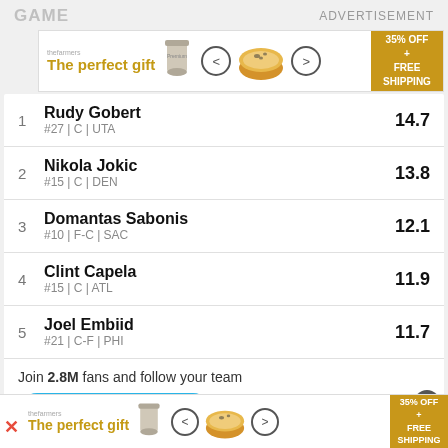GAME   ADVERTISEMENT
[Figure (infographic): Advertisement banner: The perfect gift, product images, navigation arrows, 35% OFF + FREE SHIPPING promo]
1  Rudy Gobert  #27 | C | UTA  14.7
2  Nikola Jokic  #15 | C | DEN  13.8
3  Domantas Sabonis  #10 | F-C | SAC  12.1
4  Clint Capela  #15 | C | ATL  11.9
5  Joel Embiid  #21 | C-F | PHI  11.7
Join 2.8M fans and follow your team
ADD TO CALENDAR
POWERED BY STANZA
[Figure (infographic): Second advertisement banner at bottom: The perfect gift, product images, navigation arrows, 35% OFF + FREE SHIPPING promo]